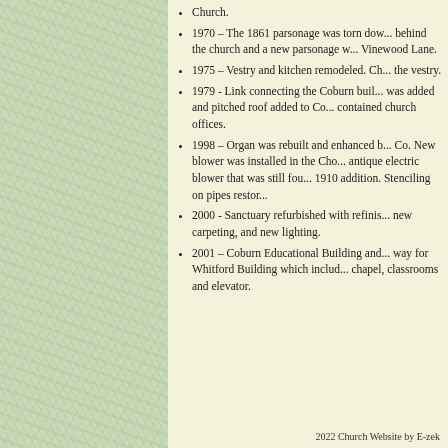[Figure (other): Left panel with light green mottled/textured background pattern]
Church.
1970 – The 1861 parsonage was torn down behind the church and a new parsonage w... Vinewood Lane.
1975 – Vestry and kitchen remodeled. Ch... the vestry.
1979 - Link connecting the Coburn buil... was added and pitched roof added to Co... contained church offices.
1998 – Organ was rebuilt and enhanced b... Co. New blower was installed in the Ch... antique electric blower that was still fou... 1910 addition. Stenciling on pipes restor...
2000 - Sanctuary refurbished with refinis... new carpeting, and new lighting.
2001 – Coburn Educational Building and... way for Whitford Building which includ... chapel, classrooms and elevator.
2022 Church Website by E-zek